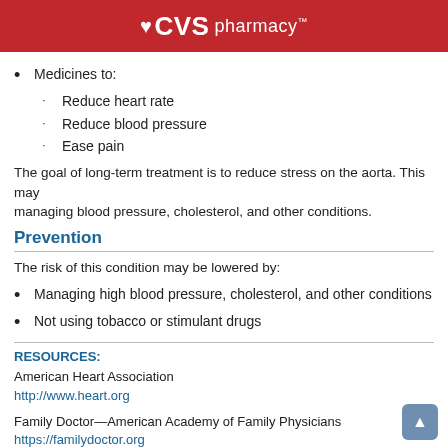CVS pharmacy™
Medicines to:
Reduce heart rate
Reduce blood pressure
Ease pain
The goal of long-term treatment is to reduce stress on the aorta. This may managing blood pressure, cholesterol, and other conditions.
Prevention
The risk of this condition may be lowered by:
Managing high blood pressure, cholesterol, and other conditions
Not using tobacco or stimulant drugs
RESOURCES:
American Heart Association
http://www.heart.org
Family Doctor—American Academy of Family Physicians
https://familydoctor.org
CANADIAN RESOURCES:
Health Canada
https://www.canada.ca